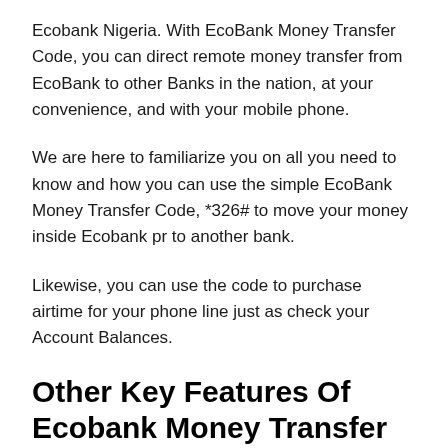Ecobank Nigeria. With EcoBank Money Transfer Code, you can direct remote money transfer from EcoBank to other Banks in the nation, at your convenience, and with your mobile phone.
We are here to familiarize you on all you need to know and how you can use the simple EcoBank Money Transfer Code, *326# to move your money inside Ecobank pr to another bank.
Likewise, you can use the code to purchase airtime for your phone line just as check your Account Balances.
Other Key Features Of Ecobank Money Transfer Code